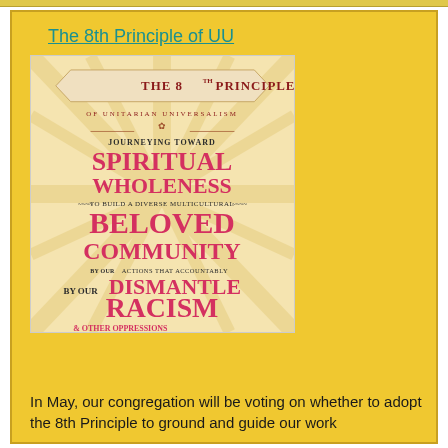The 8th Principle of UU
[Figure (infographic): Poster for The 8th Principle of Unitarian Universalism. Text reads: THE 8TH PRINCIPLE OF UNITARIAN UNIVERSALISM — Journeying Toward SPIRITUAL WHOLENESS to build a diverse multicultural BELOVED COMMUNITY by our actions that accountably DISMANTLE RACISM & OTHER OPPRESSIONS IN OURSELVES AND OUR INSTITUTIONS]
In May, our congregation will be voting on whether to adopt the 8th Principle to ground and guide our work